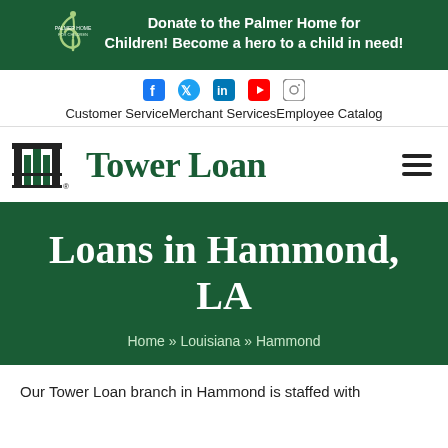Donate to the Palmer Home for Children! Become a hero to a child in need!
Customer Service Merchant Services Employee Catalog
[Figure (logo): Tower Loan logo with stylized building icon in green and black, text reads Tower Loan]
Loans in Hammond, LA
Home » Louisiana » Hammond
Our Tower Loan branch in Hammond is staffed with